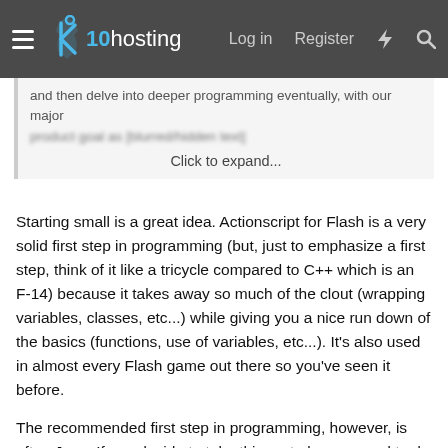x10hosting — Log in | Register
and then delve into deeper programming eventually, with our major
product goal as [blurred text]
Click to expand...
Starting small is a great idea. Actionscript for Flash is a very solid first step in programming (but, just to emphasize a first step, think of it like a tricycle compared to C++ which is an F-14) because it takes away so much of the clout (wrapping variables, classes, etc...) while giving you a nice run down of the basics (functions, use of variables, etc...). It's also used in almost every Flash game out there so you've seen it before.
The recommended first step in programming, however, is often Java. If you decide to take this route be prepared to do a lot of programing unrelated to gaming to understand the language. It is, in the end, a better option to start with because it introduces you to Object-Oriented Design and programming.
In terms of Math., Calculus is an important thing to know for the physics part of the game and later A.I. Linear Algebra also